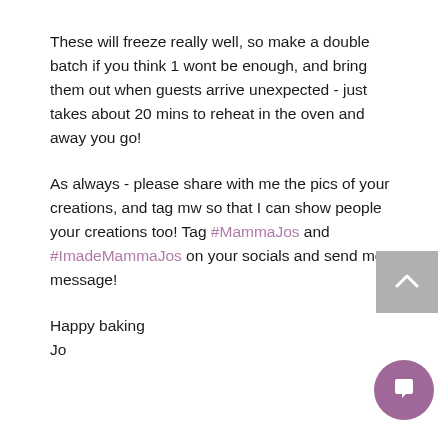These will freeze really well, so make a double batch if you think 1 wont be enough, and bring them out when guests arrive unexpected - just takes about 20 mins to reheat in the oven and away you go!
As always - please share with me the pics of your creations, and tag mw so that I can show people your creations too! Tag #MammaJos and #ImadeMammaJos on your socials and send me a message!
Happy baking
Jo